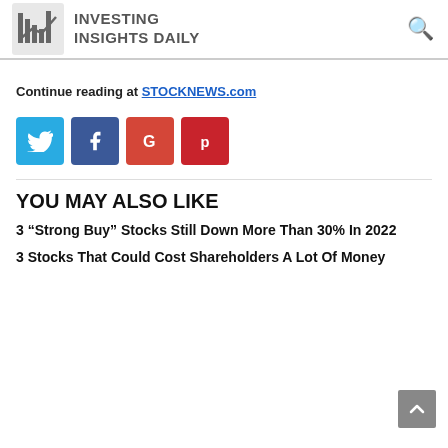INVESTING INSIGHTS DAILY
Continue reading at STOCKNEWS.com
[Figure (other): Social share buttons: Twitter (blue), Facebook (dark blue), Google (red-orange), Pinterest (dark red)]
YOU MAY ALSO LIKE
3 “Strong Buy” Stocks Still Down More Than 30% In 2022
3 Stocks That Could Cost Shareholders A Lot Of Money